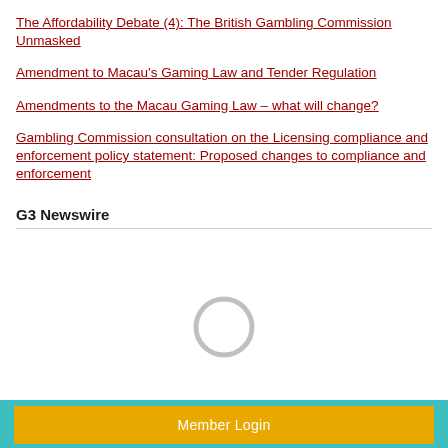The Affordability Debate (4): The British Gambling Commission Unmasked
Amendment to Macau's Gaming Law and Tender Regulation
Amendments to the Macau Gaming Law – what will change?
Gambling Commission consultation on the Licensing compliance and enforcement policy statement: Proposed changes to compliance and enforcement
G3 Newswire
[Figure (other): Loading spinner - a circular grey ring indicating content is loading]
Member Login